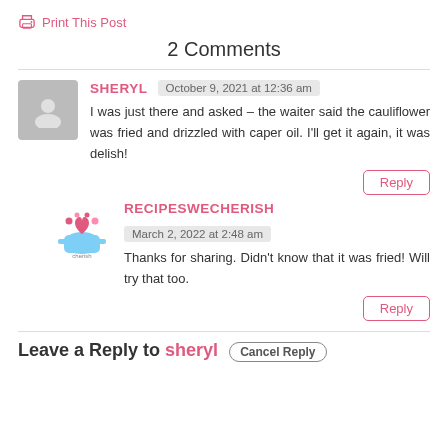Print This Post
2 Comments
SHERYL   October 9, 2021 at 12:36 am
I was just there and asked – the waiter said the cauliflower was fried and drizzled with caper oil. I'll get it again, it was delish!
Reply
RECIPESWECHERISH   March 2, 2022 at 2:48 am
Thanks for sharing. Didn't know that it was fried! Will try that too.
Reply
Leave a Reply to sheryl  Cancel Reply